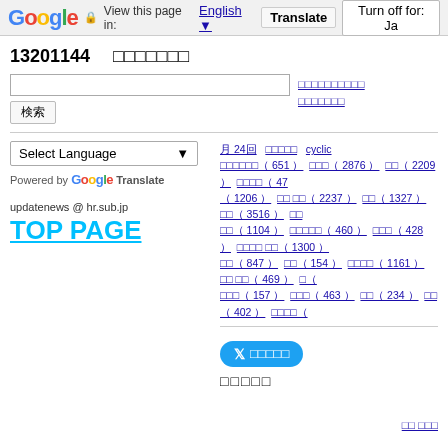Google | View this page in: English [▼] | Translate | Turn off for: Ja
13201144 （Japanese characters）
Search input and button with side links
Select Language ▼
Powered by Google Translate
updatenews @ hr.sub.jp
TOP PAGE
Tag links: 月 24回, cyclic, and many Japanese category links with counts
Twitter share button and label
Share link
Pagination: 0 . 1 . 2 . 3 . 4 . 5 . 6 . 7 . 8 . 9 . 10 . 11 . 12 . 13 . 14 . 15 . 16 . 17 . 18